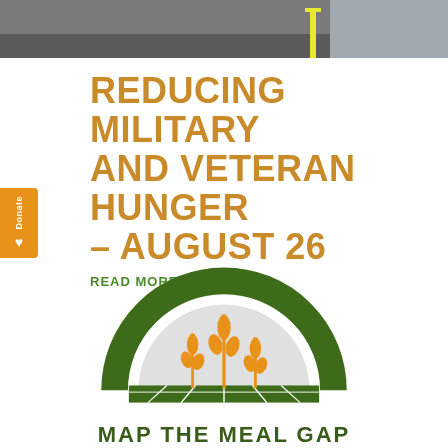[Figure (photo): A truck and outdoor scene visible at the top of the page as a photo strip]
REDUCING MILITARY AND VETERAN HUNGER – AUGUST 26
READ MORE
[Figure (logo): Map the Meal Gap logo: a green arch/dome with three orange wheat stalks on a gray semi-circle background, over a green grid/field base, with the text MAP THE MEAL GAP below]